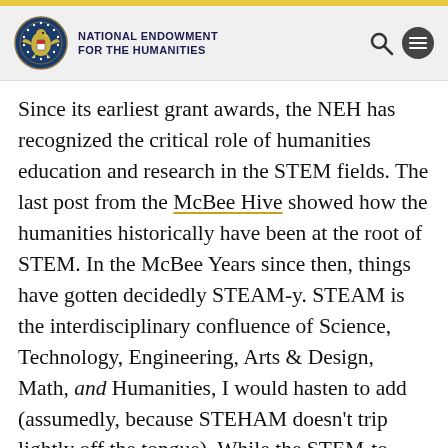NATIONAL ENDOWMENT FOR THE HUMANITIES
Since its earliest grant awards, the NEH has recognized the critical role of humanities education and research in the STEM fields. The last post from the McBee Hive showed how the humanities historically have been at the root of STEM. In the McBee Years since then, things have gotten decidedly STEAM-y. STEAM is the interdisciplinary confluence of Science, Technology, Engineering, Arts & Design, Math, and Humanities, I would hasten to add (assumedly, because STEHAM doesn't trip lightly off the tongue). While the STEM-to-STEAM